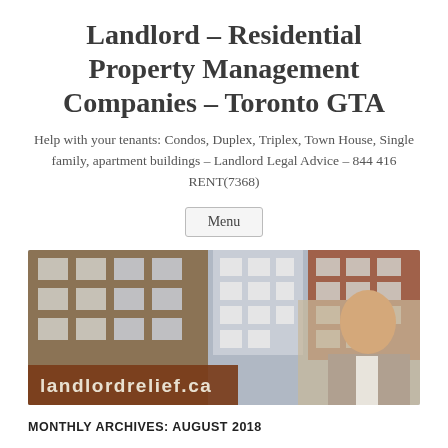Landlord – Residential Property Management Companies – Toronto GTA
Help with your tenants: Condos, Duplex, Triplex, Town House, Single family, apartment buildings – Landlord Legal Advice – 844 416 RENT(7368)
Menu
[Figure (photo): Banner image showing apartment building exterior and smiling businessman in suit, with text 'landlordrelief.ca' overlaid on a brown bar at the bottom left]
MONTHLY ARCHIVES: AUGUST 2018